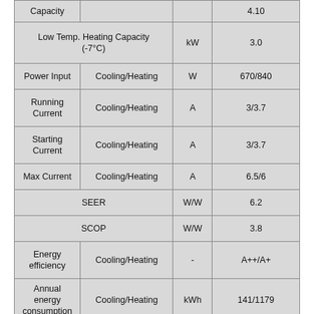| Parameter | Sub-parameter | Unit | Value |
| --- | --- | --- | --- |
| Capacity |  |  | 4.10 |
| Low Temp. Heating Capacity (-7°C) |  | kW | 3.0 |
| Power Input | Cooling/Heating | W | 670/840 |
| Running Current | Cooling/Heating | A | 3/3.7 |
| Starting Current | Cooling/Heating | A | 3/3.7 |
| Max Current | Cooling/Heating | A | 6.5/6 |
| SEER |  | W/W | 6.2 |
| SCOP |  | W/W | 3.8 |
| Energy efficiency | Cooling/Heating | - | A++/A+ |
| Annual energy consumption | Cooling/Heating | kWh | 141/1179 |
| Power Supply |  | Ø / V / Hz | 1 / 220~240 / 50 |
| Air Flow | Indoor Max | m3/min | 12.0 |